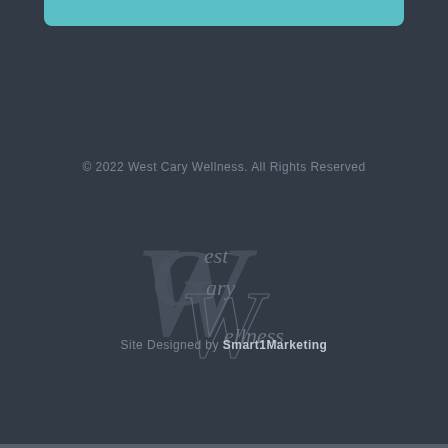[Figure (illustration): Teal/cyan rounded bar at top of page, partial view]
© 2022 West Cary Wellness. All Rights Reserved
[Figure (logo): West Cary Wellness monogram logo in gray, overlapping stylized W and cursive text reading 'West Cary Wellness']
Site Designed by Smart1Marketing